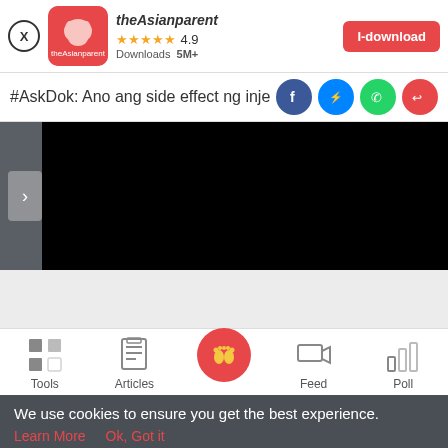[Figure (screenshot): theAsianparent app banner with close button, app icon, name, rating 4.9 stars, Downloads 5M+, and I-download button]
#AskDok: Ano ang side effect ng inje
[Figure (screenshot): Video player area with dark gray background, right arrow button, and black video frame]
[Figure (screenshot): Bottom navigation bar with Tools, Articles, center baby feet button, Feed, Poll icons]
We use cookies to ensure you get the best experience.
Learn More   Ok, Got it